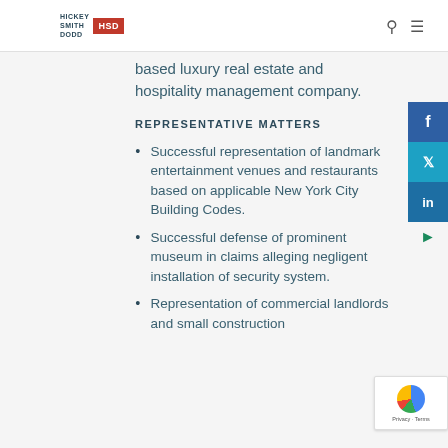HICKEY SMITH DODD | HSD
based luxury real estate and hospitality management company.
REPRESENTATIVE MATTERS
Successful representation of landmark entertainment venues and restaurants based on applicable New York City Building Codes.
Successful defense of prominent museum in claims alleging negligent installation of security system.
Representation of commercial landlords and small construction